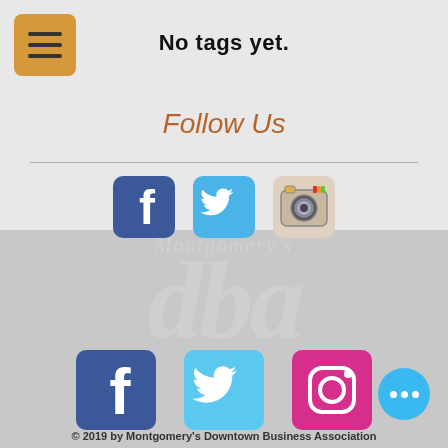No tags yet.
Follow Us
[Figure (logo): Social media icons row: Facebook, Twitter, Instagram (old camera style)]
[Figure (illustration): Watermark background: Montgomery's dba logo text in light gray italic]
[Figure (logo): Social media icons row: Facebook (dark blue), Twitter (light blue), Instagram (pink/magenta)]
© 2019  by Montgomery's Downtown Business Association